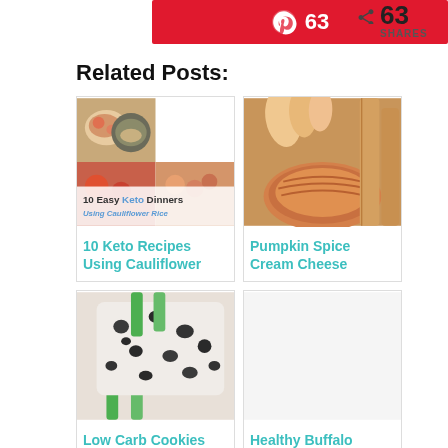[Figure (infographic): Pinterest share button showing 63 shares in red bar]
63 SHARES
Related Posts:
[Figure (photo): 10 Keto Recipes Using Cauliflower - collage of cauliflower rice dishes]
10 Keto Recipes Using Cauliflower
[Figure (photo): Pumpkin Spice Cream Cheese - close up of pumpkin spice cream cheese rolls]
Pumpkin Spice Cream Cheese
[Figure (photo): Low Carb Cookies and Cream - cookies and cream popsicle with green stick]
Low Carb Cookies and Cream
[Figure (photo): Healthy Buffalo Chicken Chili - blank/loading image]
Healthy Buffalo Chicken Chili –